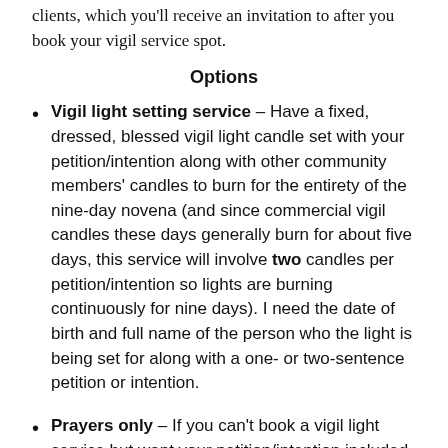clients, which you'll receive an invitation to after you book your vigil service spot.
Options
Vigil light setting service – Have a fixed, dressed, blessed vigil light candle set with your petition/intention along with other community members' candles to burn for the entirety of the nine-day novena (and since commercial vigil candles these days generally burn for about five days, this service will involve two candles per petition/intention so lights are burning continuously for nine days). I need the date of birth and full name of the person who the light is being set for along with a one- or two-sentence petition or intention.
Prayers only – If you can't book a vigil light service but want your petition/intention included in my novena